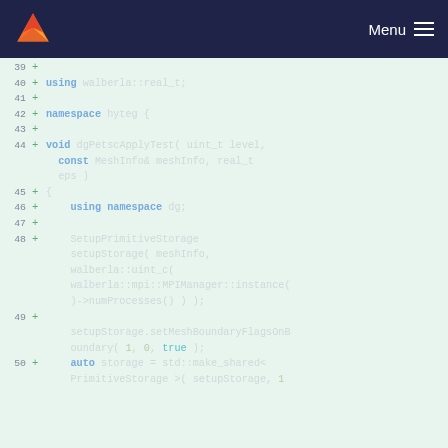Menu
[Figure (screenshot): Code diff view showing C++ source file lines 39-50 with green highlighted additions. Lines show using walberla::real_t, namespace hyteg, void dgPetscApplyTest function definition, using namespace dg, SetupPrimitiveStorage setup, setupStorage.setMeshBoundaryFlagsOnBoundary and auto storage declarations.]